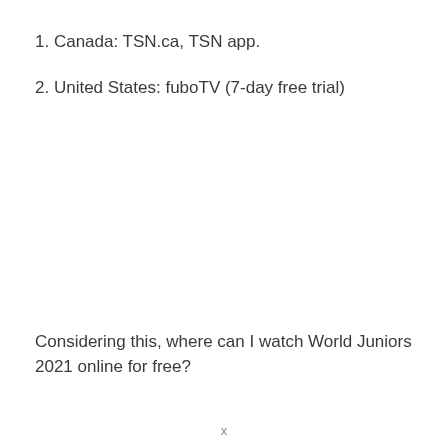1. Canada: TSN.ca, TSN app.
2. United States: fuboTV (7-day free trial)
Considering this, where can I watch World Juniors 2021 online for free?
x